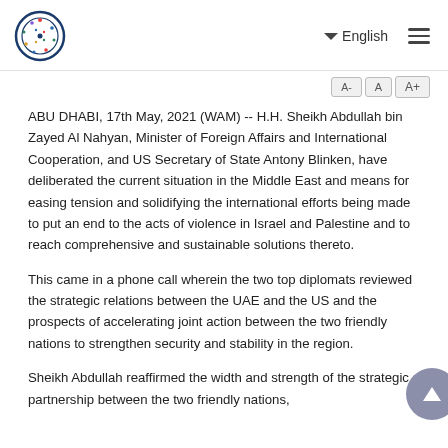WAM - UAE News Agency
A- A A+
ABU DHABI, 17th May, 2021 (WAM) -- H.H. Sheikh Abdullah bin Zayed Al Nahyan, Minister of Foreign Affairs and International Cooperation, and US Secretary of State Antony Blinken, have deliberated the current situation in the Middle East and means for easing tension and solidifying the international efforts being made to put an end to the acts of violence in Israel and Palestine and to reach comprehensive and sustainable solutions thereto.
This came in a phone call wherein the two top diplomats reviewed the strategic relations between the UAE and the US and the prospects of accelerating joint action between the two friendly nations to strengthen security and stability in the region.
Sheikh Abdullah reaffirmed the width and strength of the strategic partnership between the two friendly nations,